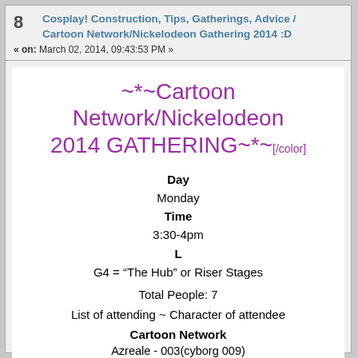8  Cosplay! Construction, Tips, Gatherings, Advice / Cartoon Network/Nickelodeon Gathering 2014 :D
« on: March 02, 2014, 09:43:53 PM »
~*~Cartoon Network/Nickelodeon 2014 GATHERING~*~[/color]
Day
Monday
Time
3:30-4pm
L
G4 = “The Hub” or Riser Stages
Total People: 7
List of attending ~ Character of attendee
Cartoon Network
Azreale - 003(cyborg 009)
DigitalDAF - Numbah 3(Codename: Kids Next Door)
Cosplay_Rose - Yumi from Code Lyoko!
Tabbychan ~ SECRET COSPLAY